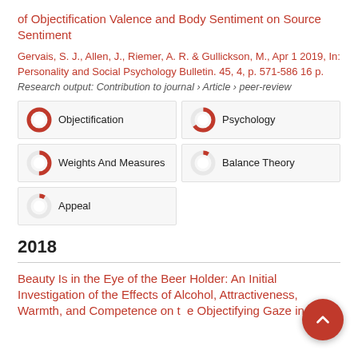of Objectification Valence and Body Sentiment on Source Sentiment
Gervais, S. J., Allen, J., Riemer, A. R. & Gullickson, M., Apr 1 2019, In: Personality and Social Psychology Bulletin. 45, 4, p. 571-586 16 p.
Research output: Contribution to journal › Article › peer-review
[Figure (infographic): Keyword badges with donut-chart percentage indicators: Objectification (100%), Psychology (~65%), Weights And Measures (~50%), Balance Theory (~8%), Appeal (~8%)]
2018
Beauty Is in the Eye of the Beer Holder: An Initial Investigation of the Effects of Alcohol, Attractiveness, Warmth, and Competence on the Objectifying Gaze in Men